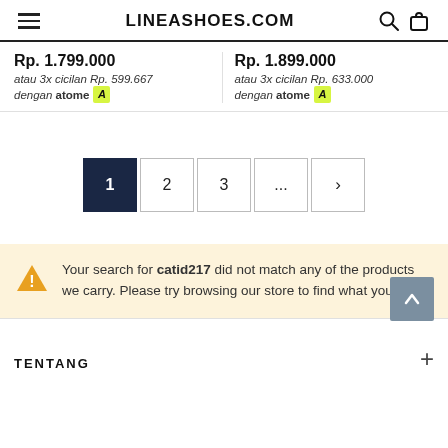LINEASHOES.COM
Rp. 1.799.000
Atau 3x cicilan Rp. 599.667 dengan atome
Rp. 1.899.000
Atau 3x cicilan Rp. 633.000 dengan atome
Pagination: 1, 2, 3, ..., >
Your search for catid217 did not match any of the products we carry. Please try browsing our store to find what you want.
TENTANG